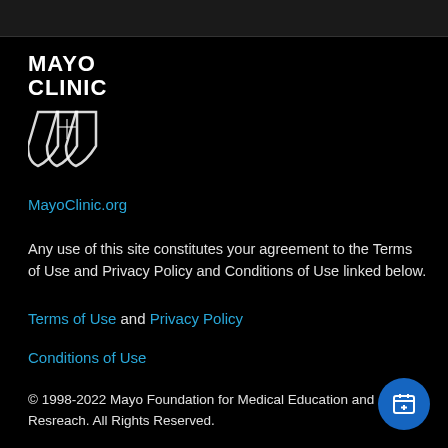[Figure (logo): Mayo Clinic logo with shield emblem and text 'MAYO CLINIC']
MayoClinic.org
Any use of this site constitutes your agreement to the Terms of Use and Privacy Policy and Conditions of Use linked below.
Terms of Use and Privacy Policy
Conditions of Use
© 1998-2022 Mayo Foundation for Medical Education and Resreach. All Rights Reserved.